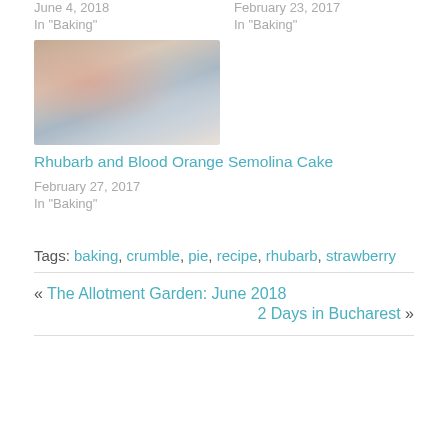June 4, 2018
In "Baking"
February 23, 2017
In "Baking"
[Figure (photo): Photo of a dessert plate with cream and fruit, next to a baking dish]
Rhubarb and Blood Orange Semolina Cake
February 27, 2017
In "Baking"
Tags: baking, crumble, pie, recipe, rhubarb, strawberry
« The Allotment Garden: June 2018
2 Days in Bucharest »